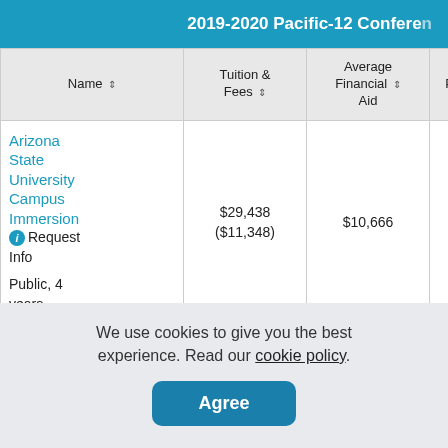2019-2020 Pacific-12 Conference
| Name | Tuition & Fees | Average Financial Aid | Population | A |
| --- | --- | --- | --- | --- |
| Arizona State University Campus Immersion Request Info
Public, 4 years | $29,438 ($11,348) | $10,666 | 74,795 |  |
We use cookies to give you the best experience. Read our cookie policy.
Agree